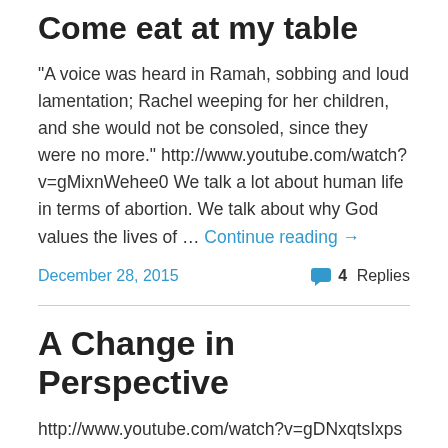Come eat at my table
"A voice was heard in Ramah, sobbing and loud lamentation; Rachel weeping for her children, and she would not be consoled, since they were no more." http://www.youtube.com/watch?v=gMixnWehee0 We talk a lot about human life in terms of abortion. We talk about why God values the lives of … Continue reading →
December 28, 2015   4 Replies
A Change in Perspective
http://www.youtube.com/watch?v=gDNxqtsIxps "What if there was no light Nothing wrong, nothing right" Coldplay This morning I woke up thinking about the crucifixion. Not about the blood or the torment or the suffering of Jesus